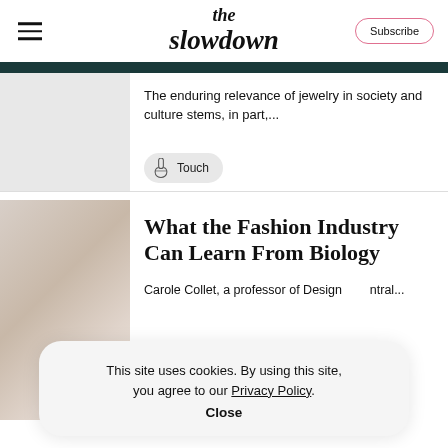the slowdown | Subscribe
The enduring relevance of jewelry in society and culture stems, in part,...
Touch
What the Fashion Industry Can Learn From Biology
Carole Collet, a professor of Design ntral...
This site uses cookies. By using this site, you agree to our Privacy Policy. Close